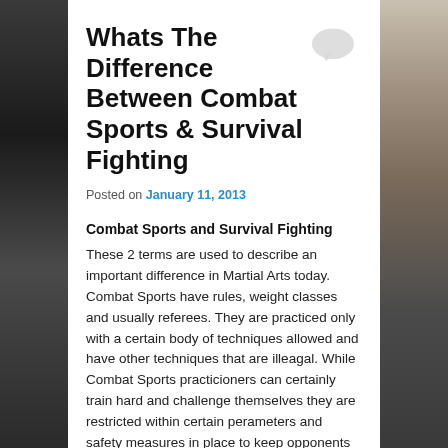Whats The Difference Between Combat Sports & Survival Fighting
Posted on January 11, 2013
Combat Sports and Survival Fighting
These 2 terms are used to describe an important difference in Martial Arts today. Combat Sports have rules, weight classes and usually referees. They are practiced only with a certain body of techniques allowed and have other techniques that are illeagal. While Combat Sports practicioners can certainly train hard and challenge themselves they are restricted within certain perameters and safety measures in place to keep opponents from truly harming or finishing each other beyond recovery.
Survival Fighting is when you must fight for your life. In other words if you stop fighting or fail to use techniques